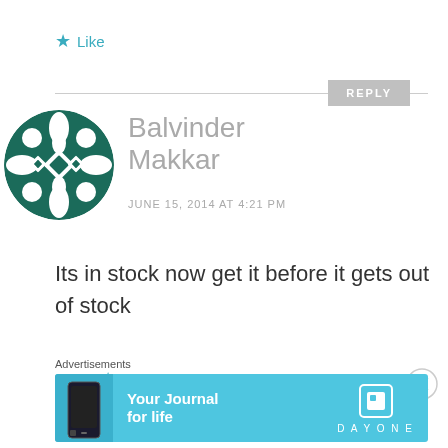★ Like
REPLY
[Figure (illustration): Avatar for Balvinder Makkar: dark teal circle with decorative geometric white diamond/leaf pattern]
Balvinder Makkar
JUNE 15, 2014 AT 4:21 PM
Its in stock now get it before it gets out of stock
★ Like
[Figure (illustration): Advertisement banner: light blue background, phone image on left, 'Your Journal for life' text, DayOne logo on right]